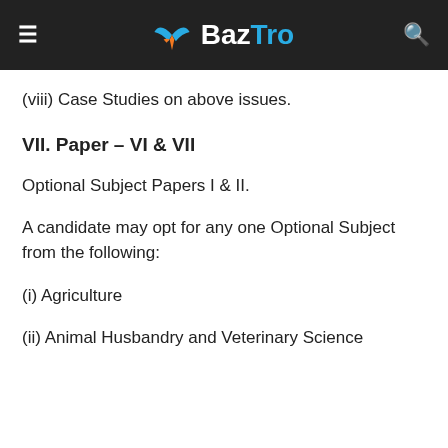BazTro
(viii) Case Studies on above issues.
VII. Paper – VI & VII
Optional Subject Papers I & II.
A candidate may opt for any one Optional Subject from the following:
(i) Agriculture
(ii) Animal Husbandry and Veterinary Science